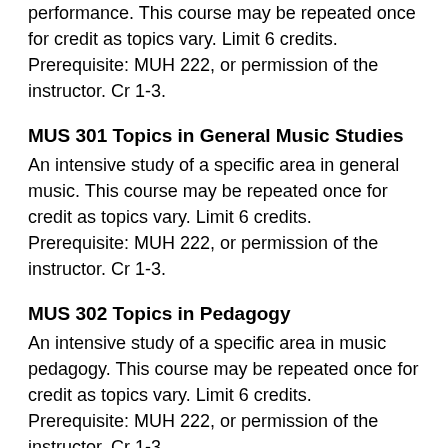An intensive study of a specific area of performance. This course may be repeated once for credit as topics vary. Limit 6 credits. Prerequisite: MUH 222, or permission of the instructor. Cr 1-3.
MUS 301 Topics in General Music Studies
An intensive study of a specific area in general music. This course may be repeated once for credit as topics vary. Limit 6 credits.  Prerequisite: MUH 222, or permission of the instructor. Cr 1-3.
MUS 302 Topics in Pedagogy
An intensive study of a specific area in music pedagogy. This course may be repeated once for credit as topics vary. Limit 6 credits.  Prerequisite: MUH 222, or permission of the instructor. Cr 1-3.
MUS 310 Organ Improvisation 1